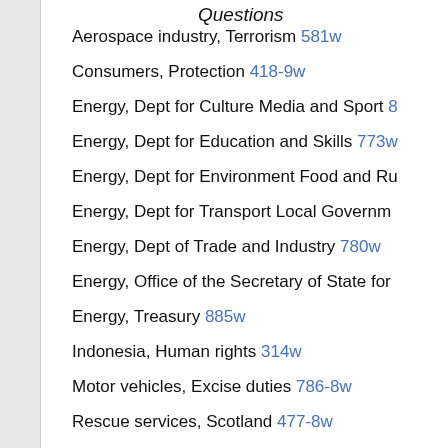Questions
Aerospace industry, Terrorism 581w
Consumers, Protection 418-9w
Energy, Dept for Culture Media and Sport 8…
Energy, Dept for Education and Skills 773w…
Energy, Dept for Environment Food and Ru…
Energy, Dept for Transport Local Governm…
Energy, Dept of Trade and Industry 780w
Energy, Office of the Secretary of State for…
Energy, Treasury 885w
Indonesia, Human rights 314w
Motor vehicles, Excise duties 786-8w
Rescue services, Scotland 477-8w
Tax burden, Pensioners 261w
Trade competitiveness 1001